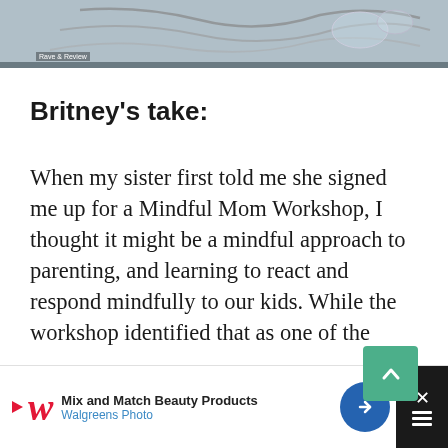[Figure (photo): Photo of earphones/cables on a wooden surface, partially visible at top of page]
Britney's take:
When my sister first told me she signed me up for a Mindful Mom Workshop, I thought it might be a mindful approach to parenting, and learning to react and respond mindfully to our kids. While the workshop identified that as one of the benefits, our actions with our kids were certainly not the only focus. As the mom of a newborn, I wasn't sure if I would really learn much that applied to me, but it sounded like fun to join a group of other moms in learning something new I
[Figure (photo): Advertisement banner: Mix and Match Beauty Products - Walgreens Photo]
Mix and Match Beauty Products — Walgreens Photo advertisement